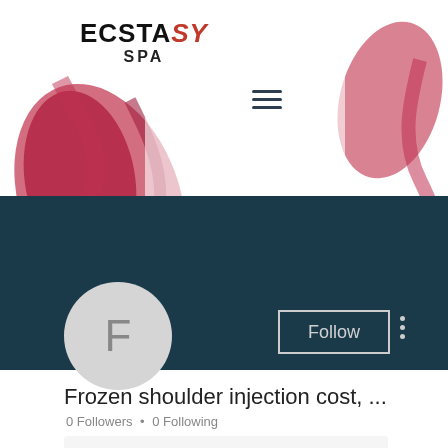[Figure (screenshot): Ecstasy Spa website header with decorative dark red/crimson ink splash on white background]
ECSTASY SPA
[Figure (screenshot): Dark teal/navy profile banner section with Follow button and three-dot menu, circular avatar with letter F]
Frozen shoulder injection cost, ...
0 Followers • 0 Following
[Figure (infographic): Bottom card showing phone icon, email/envelope icon, and grid/list icon]